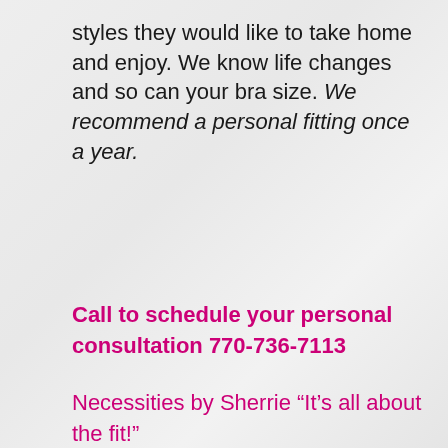styles they would like to take home and enjoy. We know life changes and so can your bra size. We recommend a personal fitting once a year.
Call to schedule your personal consultation 770-736-7113
Necessities by Sherrie “It’s all about the fit!”